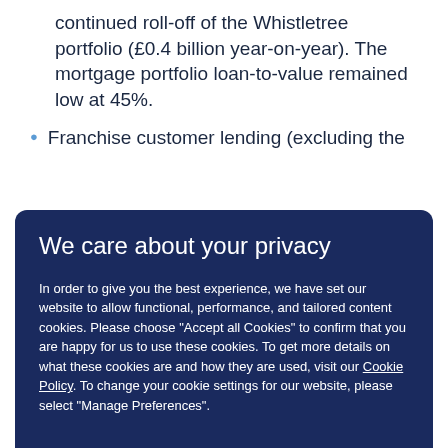continued roll-off of the Whistletree portfolio (£0.4 billion year-on-year). The mortgage portfolio loan-to-value remained low at 45%.
Franchise customer lending (excluding the
We care about your privacy
In order to give you the best experience, we have set our website to allow functional, performance, and tailored content cookies. Please choose "Accept all Cookies" to confirm that you are happy for us to use these cookies. To get more details on what these cookies are and how they are used, visit our Cookie Policy. To change your cookie settings for our website, please select "Manage Preferences".